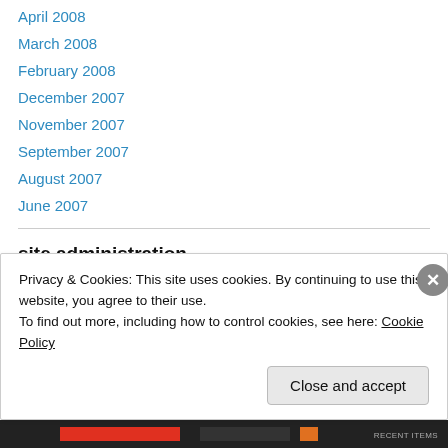April 2008
March 2008
February 2008
December 2007
November 2007
September 2007
August 2007
June 2007
site administration
Register
Privacy & Cookies: This site uses cookies. By continuing to use this website, you agree to their use.
To find out more, including how to control cookies, see here: Cookie Policy
Close and accept